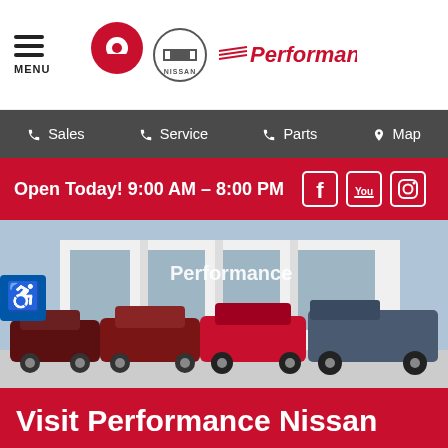MENU | Performance Nissan
Sales  Service  Parts  Map
Open Today! 9:00 AM - 8:00 PM
[Figure (photo): Performance Nissan dealership exterior with multiple Nissan vehicles parked in front]
Visit Performance Nissan
1345 S Federal Highway, Pompano Beach Beach, FL 33062